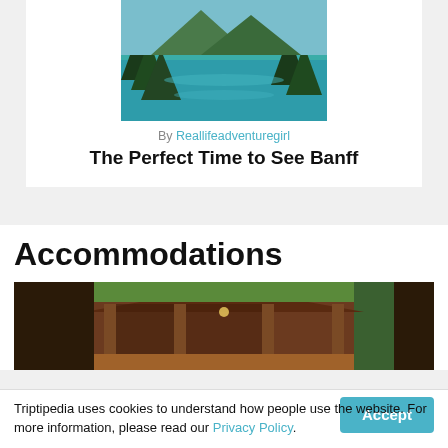[Figure (photo): Turquoise mountain lake with evergreen trees reflected on the surface]
By Reallifeadventuregirl
The Perfect Time to See Banff
Accommodations
[Figure (photo): Wooden cabin or pavilion structure surrounded by green forest trees]
Triptipedia uses cookies to understand how people use the website. For more information, please read our Privacy Policy.